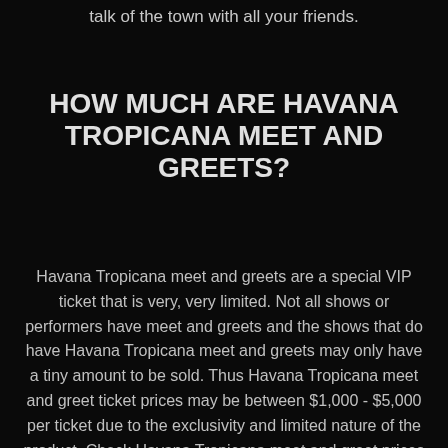talk of the town with all your friends.
HOW MUCH ARE HAVANA TROPICANA MEET AND GREETS?
Havana Tropicana meet and greets are a special VIP ticket that is very, very limited. Not all shows or performers have meet and greets and the shows that do have Havana Tropicana meet and greets may only have a tiny amount to be sold. Thus Havana Tropicana meet and greet ticket prices may be between $1,000 - $5,000 per ticket due to the exclusivity and limited nature of the product. Check Havana Tropicana meet and greet prices with the click of a button. Havana Tropicana. Meet and greet prices rarely decrease in